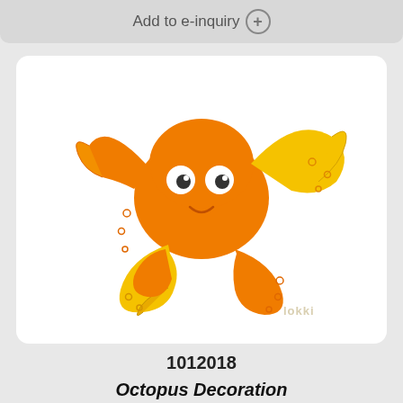Add to e-inquiry +
[Figure (illustration): Cartoon orange octopus decoration illustration with yellow tentacle curls and a smiling face, on white background. Watermark 'lokki' in bottom right corner.]
1012018
Octopus Decoration
Usual delivery time 4-6 weeks
Add to e-inquiry +